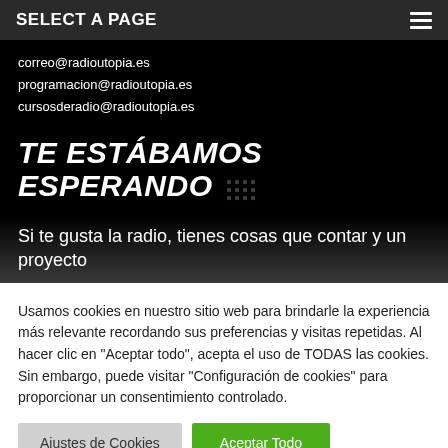SELECT A PAGE
correo@radioutopia.es
programacion@radioutopia.es
cursosderadio@radioutopia.es
TE ESTÁBAMOS ESPERANDO
Si te gusta la radio, tienes cosas que contar y un proyecto
Usamos cookies en nuestro sitio web para brindarle la experiencia más relevante recordando sus preferencias y visitas repetidas. Al hacer clic en "Aceptar todo", acepta el uso de TODAS las cookies. Sin embargo, puede visitar "Configuración de cookies" para proporcionar un consentimiento controlado.
Ajustes de Cookies | Aceptar Todo